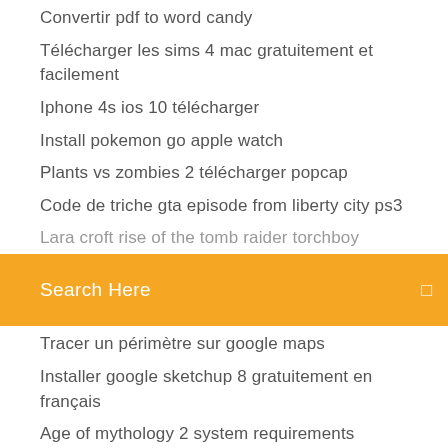Convertir pdf to word candy
Télécharger les sims 4 mac gratuitement et facilement
Iphone 4s ios 10 télécharger
Install pokemon go apple watch
Plants vs zombies 2 télécharger popcap
Code de triche gta episode from liberty city ps3
Lara croft rise of the tomb raider torchboy
[Figure (screenshot): Orange search bar with text 'Search Here' and a search icon on the right]
Tracer un périmètre sur google maps
Installer google sketchup 8 gratuitement en français
Age of mythology 2 system requirements
Xara photo & graphic designer 365 serial number
Telecharger gta 5 pc sans clé dactivation
Telecharger adobe flash gratuit pour windows 10
Windows live mail windows 7 gratuit en français
Convertir une image en icone gratuit
Adobe bridge cs6 télécharger mac
Driver hp deskjet 2050 j510a